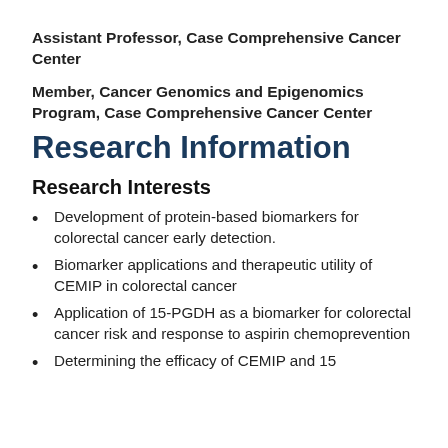Assistant Professor, Case Comprehensive Cancer Center
Member, Cancer Genomics and Epigenomics Program, Case Comprehensive Cancer Center
Research Information
Research Interests
Development of protein-based biomarkers for colorectal cancer early detection.
Biomarker applications and therapeutic utility of CEMIP in colorectal cancer
Application of 15-PGDH as a biomarker for colorectal cancer risk and response to aspirin chemoprevention
Determining the efficacy of CEMIP and 15